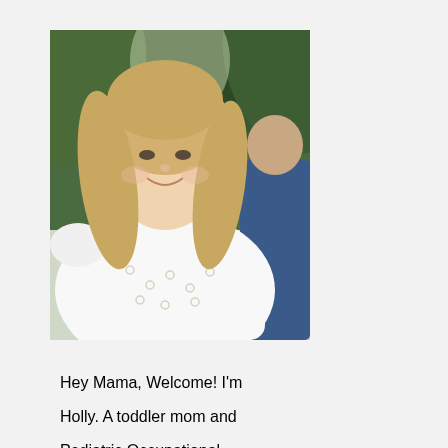[Figure (photo): Portrait photo of a smiling blonde woman wearing a white lace/eyelet top, outdoors with green palm trees in the background. Another person in a blue shirt is partially visible to the right.]
Hey Mama, Welcome! I'm Holly. A toddler mom and Pediatric Occupational